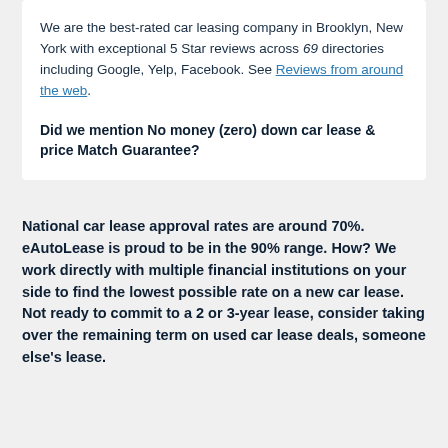We are the best-rated car leasing company in Brooklyn, New York with exceptional 5 Star reviews across 69 directories including Google, Yelp, Facebook. See Reviews from around the web.
Did we mention No money (zero) down car lease & price Match Guarantee?
National car lease approval rates are around 70%. eAutoLease is proud to be in the 90% range. How? We work directly with multiple financial institutions on your side to find the lowest possible rate on a new car lease. Not ready to commit to a 2 or 3-year lease, consider taking over the remaining term on used car lease deals, someone else's lease.